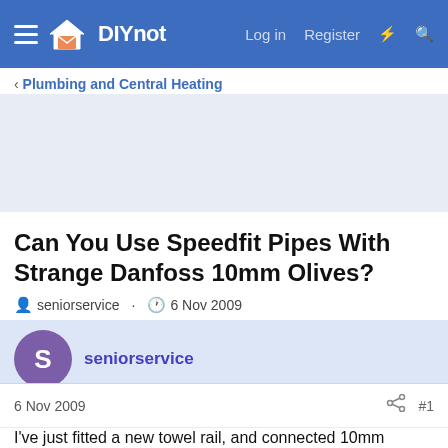DIYnot — Log in  Register
< Plumbing and Central Heating
Can You Use Speedfit Pipes With Strange Danfoss 10mm Olives?
seniorservice · 6 Nov 2009
seniorservice
6 Nov 2009  #1
I've just fitted a new towel rail, and connected 10mm Speedfit pipe to the valves.